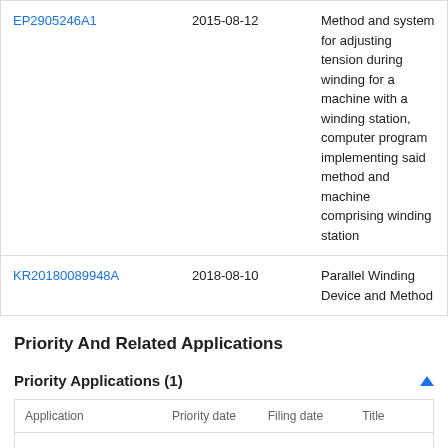|  |  |  |
| --- | --- | --- |
| EP2905246A1 | 2015-08-12 | Method and system for adjusting tension during winding for a machine with a winding station, computer program implementing said method and machine comprising winding station |
| KR20180089948A | 2018-08-10 | Parallel Winding Device and Method |
Priority And Related Applications
Priority Applications (1)
| Application | Priority date | Filing date | Title |
| --- | --- | --- | --- |
| KR1020200115805A | 2020-09-10 | 2020-09-10 | a tension controning method of filament-winding |